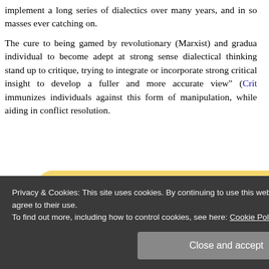implement a long series of dialectics over many years, and in so masses ever catching on.
The cure to being gamed by revolutionary (Marxist) and gradual individual to become adept at strong sense dialectical thinking stand up to critique, trying to integrate or incorporate strong critical insight to develop a fuller and more accurate view" (Crit immunizes individuals against this form of manipulation, while aiding in conflict resolution.
[Figure (infographic): Yellow rounded box with title 'Dialectical Thinking is t' and body text 'Dialectical thinking is a form of "dialogical thinkin one perspective) conducted to test the strengths...']
Privacy & Cookies: This site uses cookies. By continuing to use this website, you agree to their use.
To find out more, including how to control cookies, see here: Cookie Policy